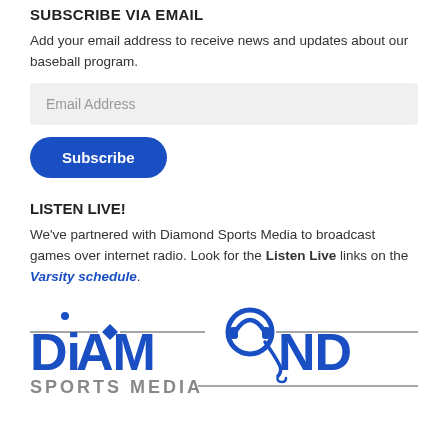SUBSCRIBE VIA EMAIL
Add your email address to receive news and updates about our baseball program.
Email Address
Subscribe
LISTEN LIVE!
We've partnered with Diamond Sports Media to broadcast games over internet radio. Look for the Listen Live links on the Varsity schedule.
[Figure (logo): Diamond Sports Media logo with headset graphic and horizontal lines]